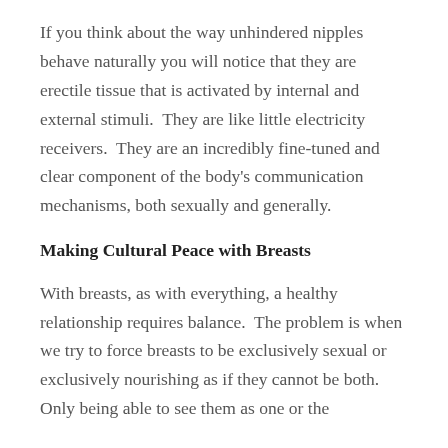If you think about the way unhindered nipples behave naturally you will notice that they are erectile tissue that is activated by internal and external stimuli.  They are like little electricity receivers.  They are an incredibly fine-tuned and clear component of the body's communication mechanisms, both sexually and generally.
Making Cultural Peace with Breasts
With breasts, as with everything, a healthy relationship requires balance.  The problem is when we try to force breasts to be exclusively sexual or exclusively nourishing as if they cannot be both.  Only being able to see them as one or the